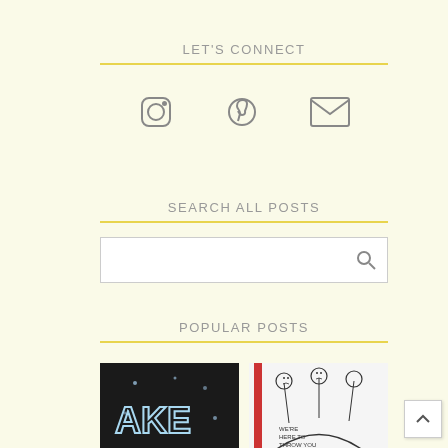LET'S CONNECT
[Figure (infographic): Three social icons: Instagram camera icon, Pinterest 'p' icon, and email envelope icon, arranged in a row]
SEARCH ALL POSTS
[Figure (other): Search input box with magnifying glass icon]
POPULAR POSTS
[Figure (photo): Two popular post thumbnail images side by side: left shows a chalkboard with text 'CAKE', right shows a sketch illustration with balloons and text 'WE'RE HERE TO THROW YOU']